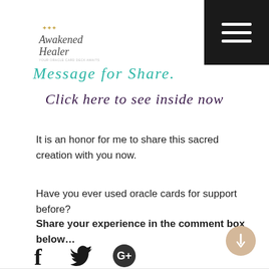Awakened Healer
Message for Share.
Click here to see inside now
It is an honor for me to share this sacred creation with you now.
Have you ever used oracle cards for support before?
Share your experience in the comment box below...
[Figure (other): Social sharing icons: Facebook (f), Twitter (bird), Google Plus (G+) circle]